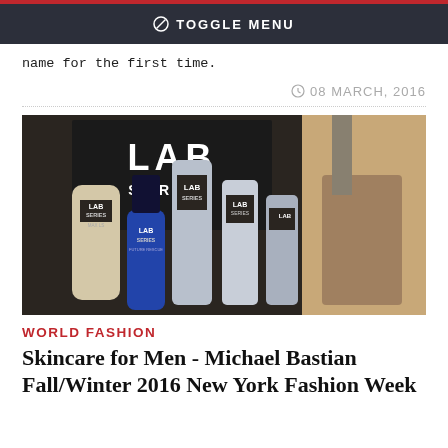TOGGLE MENU
name for the first time.
08 MARCH, 2016
[Figure (photo): Multiple Lab Series skincare products for men arranged on a surface, with a large Lab Series branded black box/sign in the background. Products include tubes and bottles with silver and blue packaging.]
WORLD FASHION
Skincare for Men - Michael Bastian Fall/Winter 2016 New York Fashion Week